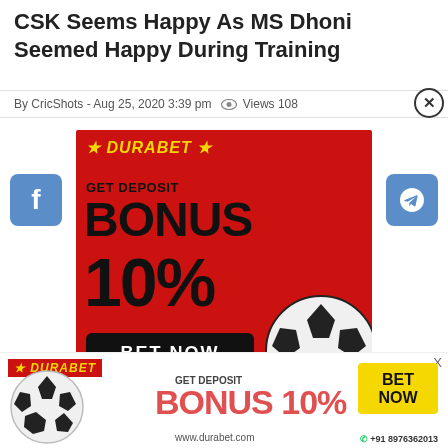CSK Seems Happy As MS Dhoni Seemed Happy During Training
By CricShots - Aug 25, 2020 3:39 pm  Views 108
[Figure (infographic): Durabet betting advertisement banner. Red background. Text: GET DEPOSIT BONUS 10%. BET NOW button. Phone: +91 8976362013. Soccer ball graphic.]
[Figure (infographic): Durabet bottom sticky banner. GET DEPOSIT BONUS 10%. BET NOW. www.durabet.com. +91 8976362013. Soccer ball graphic.]